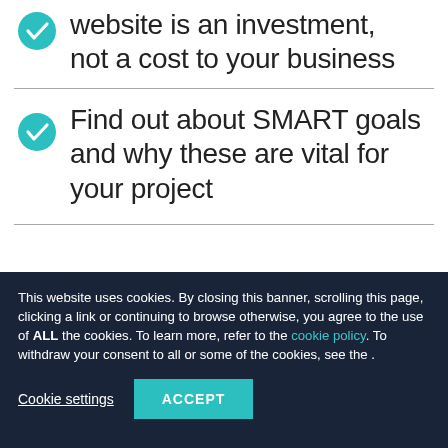website is an investment, not a cost to your business
Find out about SMART goals and why these are vital for your project
This website uses cookies. By closing this banner, scrolling this page, clicking a link or continuing to browse otherwise, you agree to the use of ALL the cookies. To learn more, refer to the cookie policy. To withdraw your consent to all or some of the cookies, see the .